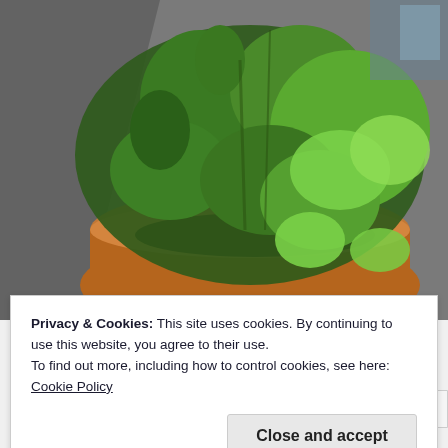[Figure (photo): A terracotta pot filled with lush green mint plants sitting on a dark grey outdoor surface, photographed from above at an angle. The plants have vibrant green leaves, with some lighter green leaves visible. Soil is visible in the center of the pot.]
Privacy & Cookies: This site uses cookies. By continuing to use this website, you agree to their use.
To find out more, including how to control cookies, see here:
Cookie Policy
Close and accept